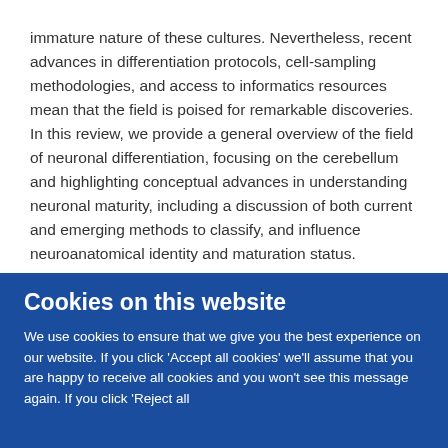immature nature of these cultures. Nevertheless, recent advances in differentiation protocols, cell-sampling methodologies, and access to informatics resources mean that the field is poised for remarkable discoveries. In this review, we provide a general overview of the field of neuronal differentiation, focusing on the cerebellum and highlighting conceptual advances in understanding neuronal maturity, including a discussion of both current and emerging methods to classify, and influence neuroanatomical identity and maturation status.
Original publication
Cookies on this website
We use cookies to ensure that we give you the best experience on our website. If you click 'Accept all cookies' we'll assume that you are happy to receive all cookies and you won't see this message again. If you click 'Reject all